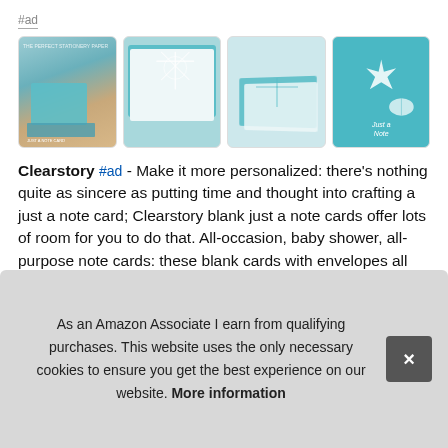#ad
[Figure (photo): Four product images of Clearstory teal beach-themed note cards with starfish and coral patterns. First image shows a person holding cards, second shows a stack of teal cards with white snowflake/coral pattern, third shows cards from a side angle, fourth shows a single teal card with starfish and 'Just a Note' text.]
Clearstory #ad - Make it more personalized: there's nothing quite as sincere as putting time and thought into crafting a just a note card; Clearstory blank just a note cards offer lots of room for you to do that. All-occasion, baby shower, all-purpose note cards: these blank cards with envelopes all occasion just a no... acq... wor... eng...
As an Amazon Associate I earn from qualifying purchases. This website uses the only necessary cookies to ensure you get the best experience on our website. More information